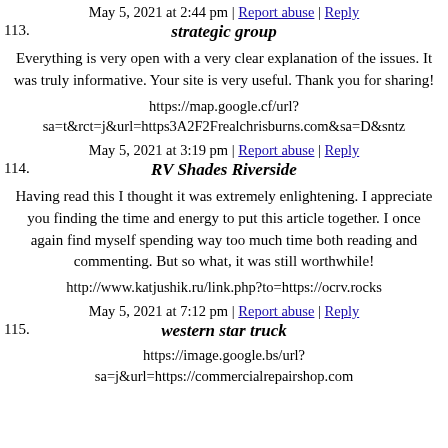May 5, 2021 at 2:44 pm | Report abuse | Reply
113. strategic group
Everything is very open with a very clear explanation of the issues. It was truly informative. Your site is very useful. Thank you for sharing!
https://map.google.cf/url?sa=t&rct=j&url=https3A2F2Frealchrisburns.com&sa=D&sntz
May 5, 2021 at 3:19 pm | Report abuse | Reply
114. RV Shades Riverside
Having read this I thought it was extremely enlightening. I appreciate you finding the time and energy to put this article together. I once again find myself spending way too much time both reading and commenting. But so what, it was still worthwhile!
http://www.katjushik.ru/link.php?to=https://ocrv.rocks
May 5, 2021 at 7:12 pm | Report abuse | Reply
115. western star truck
https://image.google.bs/url?sa=j&url=https://commercialrepairshop.com